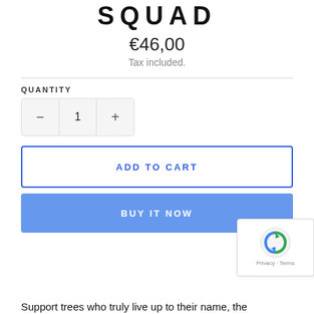SQUAD
€46,00
Tax included.
QUANTITY
ADD TO CART
BUY IT NOW
Support trees who truly live up to their name, the